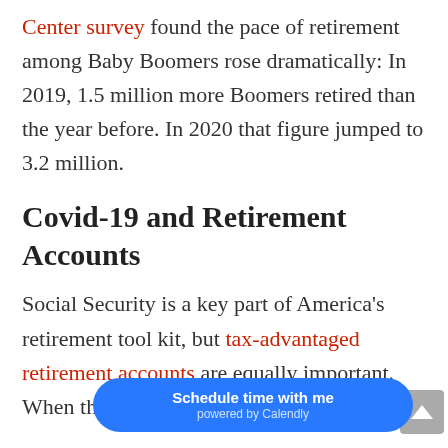Center survey found the pace of retirement among Baby Boomers rose dramatically: In 2019, 1.5 million more Boomers retired than the year before. In 2020 that figure jumped to 3.2 million.
Covid-19 and Retirement Accounts
Social Security is a key part of America's retirement tool kit, but tax-advantaged retirement accounts are equally important. When the U.S. slid into crisis one year ago,